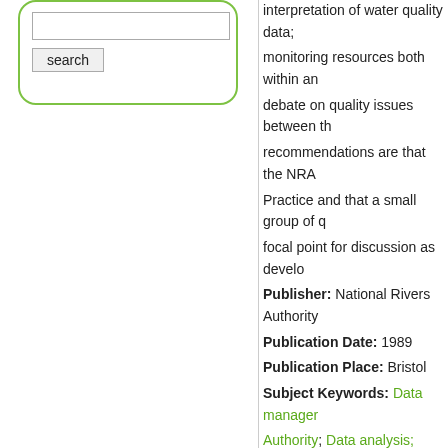[Figure (screenshot): Search input box with rounded green border and search button]
interpretation of water quality data; monitoring resources both within an debate on quality issues between th recommendations are that the NRA Practice and that a small group of q focal point for discussion as develo
Publisher: National Rivers Authority
Publication Date: 1989
Publication Place: Bristol
Subject Keywords: Data manager Authority; Data analysis; River Qu
Extent: 24
Permalink: http://www.environme
Total file downloads: 0
Download PDF    Display P